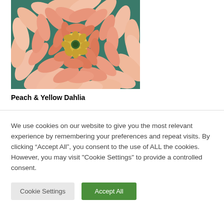[Figure (photo): Close-up photograph of a peach and yellow dahlia flower with many layered petals, shot from above on a teal/green background.]
Peach & Yellow Dahlia
We use cookies on our website to give you the most relevant experience by remembering your preferences and repeat visits. By clicking “Accept All”, you consent to the use of ALL the cookies. However, you may visit "Cookie Settings" to provide a controlled consent.